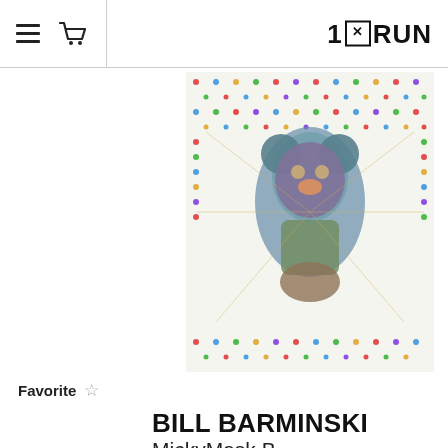1×RUN
[Figure (photo): Colorful halftone/dot-pattern artwork showing a cartoon figure (Mickey Mouse style mask) with multicolored stars and dots on white background]
Favorite ☆
BILL BARMINSKI
MickyMask B
$75
Run of 50
[Figure (photo): Close-up of second artwork showing colorful halftone pattern with yellow and black circular figure with letter P]